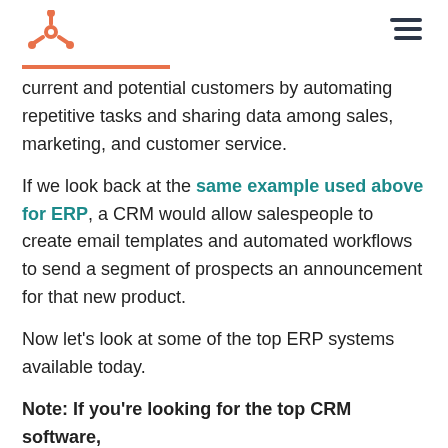HubSpot logo and navigation menu
current and potential customers by automating repetitive tasks and sharing data among sales, marketing, and customer service.
If we look back at the same example used above for ERP, a CRM would allow salespeople to create email templates and automated workflows to send a segment of prospects an announcement for that new product.
Now let’s look at some of the top ERP systems available today.
Note: If you’re looking for the top CRM software, check out this post.